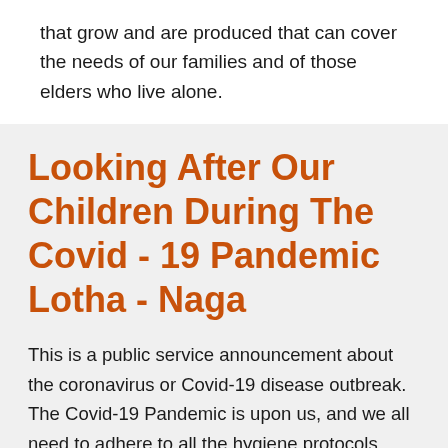that grow and are produced that can cover the needs of our families and of those elders who live alone.
Looking After Our Children During The Covid - 19 Pandemic Lotha - Naga
This is a public service announcement about the coronavirus or Covid-19 disease outbreak.
The Covid-19 Pandemic is upon us, and we all need to adhere to all the hygiene protocols.
While it is important to ensure the well-being of our elders in the time of this global pandemic, let us take care of our children too. If this is new for us, imagine the